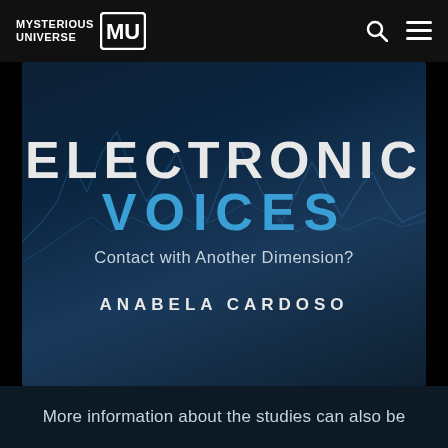MYSTERIOUS UNIVERSE MU
[Figure (photo): Book cover for 'Electronic Voices: Contact with Another Dimension?' by Anabela Cardoso. Dark blue background with waveform patterns. Title 'ELECTRONIC' in white, 'VOICES' in blue, subtitle in light grey, author name in white uppercase letters.]
More information about the studies can also be